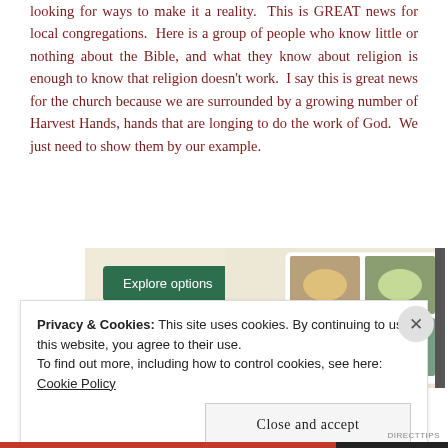looking for ways to make it a reality. This is GREAT news for local congregations. Here is a group of people who know little or nothing about the Bible, and what they know about religion is enough to know that religion doesn't work. I say this is great news for the church because we are surrounded by a growing number of Harvest Hands, hands that are longing to do the work of God. We just need to show them by our example.
[Figure (screenshot): Website advertisement showing an 'Explore options' green button on a beige background with food/meal images on the right side forming a grid layout.]
Privacy & Cookies: This site uses cookies. By continuing to use this website, you agree to their use.
To find out more, including how to control cookies, see here: Cookie Policy
Close and accept